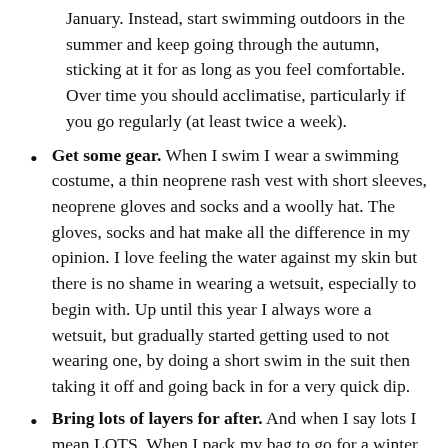January. Instead, start swimming outdoors in the summer and keep going through the autumn, sticking at it for as long as you feel comfortable. Over time you should acclimatise, particularly if you go regularly (at least twice a week).
Get some gear. When I swim I wear a swimming costume, a thin neoprene rash vest with short sleeves, neoprene gloves and socks and a woolly hat. The gloves, socks and hat make all the difference in my opinion. I love feeling the water against my skin but there is no shame in wearing a wetsuit, especially to begin with. Up until this year I always wore a wetsuit, but gradually started getting used to not wearing one, by doing a short swim in the suit then taking it off and going back in for a very quick dip.
Bring lots of layers for after. And when I say lots I mean LOTS. When I pack my bag to go for a winter swim I bring as many layers as feels ridiculous. And then I pack another one. When I'm dry and warm I can't imagine